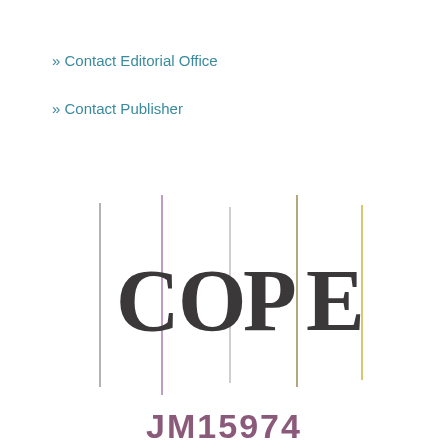» Contact Editorial Office
» Contact Publisher
[Figure (logo): COPE logo with vertical colored lines separating letters C, O, P, E in dark gray serif font]
JM15974